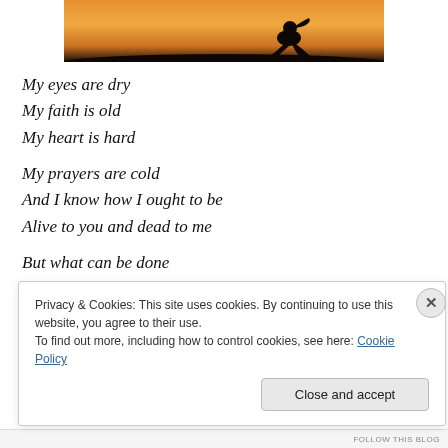[Figure (photo): Silhouette of a person kneeling at sunset with orange sky background, cropped at top of page]
My eyes are dry
My faith is old
My heart is hard
My prayers are cold
And I know how I ought to be
Alive to you and dead to me

But what can be done
Privacy & Cookies: This site uses cookies. By continuing to use this website, you agree to their use.
To find out more, including how to control cookies, see here: Cookie Policy
Close and accept